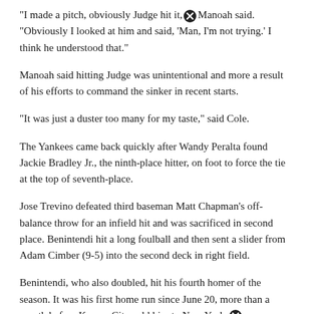"I made a pitch, obviously Judge hit it," Manoah said. "Obviously I looked at him and said, 'Man, I'm not trying.' I think he understood that."
Manoah said hitting Judge was unintentional and more a result of his efforts to command the sinker in recent starts.
"It was just a duster too many for my taste," said Cole.
The Yankees came back quickly after Wandy Peralta found Jackie Bradley Jr., the ninth-place hitter, on foot to force the tie at the top of seventh-place.
Jose Trevino defeated third baseman Matt Chapman's off-balance throw for an infield hit and was sacrificed in second place. Benintendi hit a long foulball and then sent a slider from Adam Cimber (9-5) into the second deck in right field.
Benintendi, who also doubled, hit his fourth homer of the season. It was his first home run since June 20, more than a month before Kansas City sold him to New York.